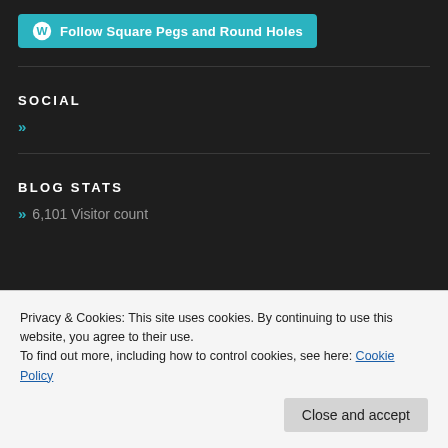[Figure (other): WordPress follow button: 'Follow Square Pegs and Round Holes' with WordPress logo icon, teal/cyan background]
SOCIAL
»
BLOG STATS
» 6,101 Visitor count
Privacy & Cookies: This site uses cookies. By continuing to use this website, you agree to their use.
To find out more, including how to control cookies, see here: Cookie Policy